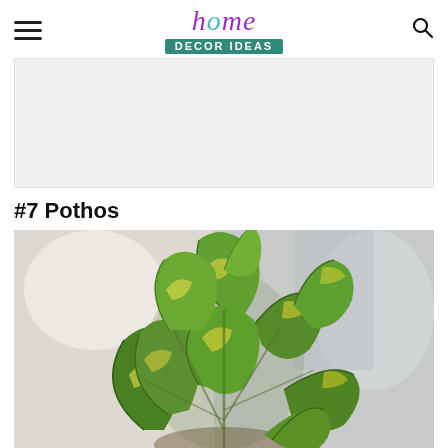home Decor Ideas
[Figure (other): Advertisement placeholder - light gray rectangle]
#7 Pothos
[Figure (photo): Close-up photo of a pothos plant with green and yellow variegated heart-shaped leaves, blurred indoor background]